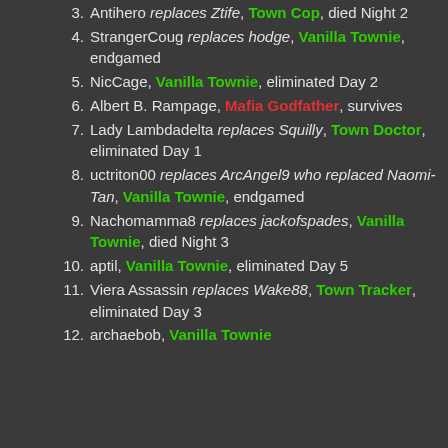Townie, died Night 4
3. Antihero replaces Ztife, Town Cop, died Night 2
4. StrangerCoug replaces hodge, Vanilla Townie, endgamed
5. NicCage, Vanilla Townie, eliminated Day 2
6. Albert B. Rampage, Mafia Godfather, survives
7. Lady Lambdadelta replaces Squilly, Town Doctor, eliminated Day 1
8. uctriton00 replaces ArcAngel9 who replaced Naomi-Tan, Vanilla Townie, endgamed
9. Nachomamma8 replaces jackofspades, Vanilla Townie, died Night 3
10. aptil, Vanilla Townie, eliminated Day 5
11. Viera Assassin replaces Wake88, Town Tracker, eliminated Day 3
12. archaebob, Vanilla Townie